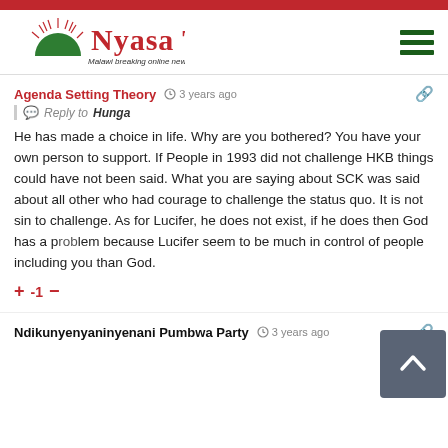[Figure (logo): Nyasa Times logo with red arc/semicircle icon and tagline 'Malawi breaking online news source']
Agenda Setting Theory  3 years ago
Reply to Hunga
He has made a choice in life. Why are you bothered? You have your own person to support. If People in 1993 did not challenge HKB things could have not been said. What you are saying about SCK was said about all other who had courage to challenge the status quo. It is not sin to challenge. As for Lucifer, he does not exist, if he does then God has a problem because Lucifer seem to be much in control of people including you than God.
+ -1 −
Ndikunyenyaninyenani Pumbwa Party  3 years ago